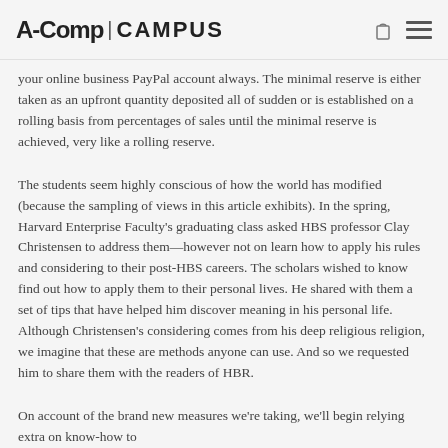A-Camp | CAMPUS
your online business PayPal account always. The minimal reserve is either taken as an upfront quantity deposited all of sudden or is established on a rolling basis from percentages of sales until the minimal reserve is achieved, very like a rolling reserve.
The students seem highly conscious of how the world has modified (because the sampling of views in this article exhibits). In the spring, Harvard Enterprise Faculty's graduating class asked HBS professor Clay Christensen to address them—however not on learn how to apply his rules and considering to their post-HBS careers. The scholars wished to know find out how to apply them to their personal lives. He shared with them a set of tips that have helped him discover meaning in his personal life. Although Christensen's considering comes from his deep religious religion, we imagine that these are methods anyone can use. And so we requested him to share them with the readers of HBR.
On account of the brand new measures we're taking, we'll begin relying extra on know-how to